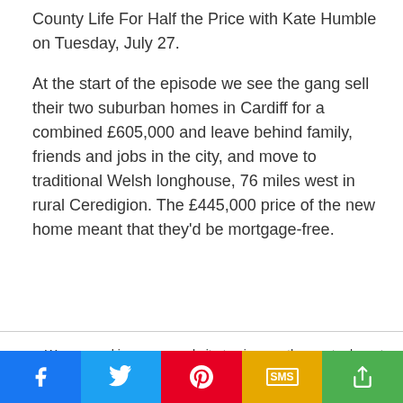County Life For Half the Price with Kate Humble on Tuesday, July 27.
At the start of the episode we see the gang sell their two suburban homes in Cardiff for a combined £605,000 and leave behind family, friends and jobs in the city, and move to traditional Welsh longhouse, 76 miles west in rural Ceredigion. The £445,000 price of the new home meant that they'd be mortgage-free.
We use cookies on our website to give you the most relevant experience by remembering your preferences and repeat visits. By clicking "Accept", you consent to the use of ALL the cookies.
Do not sell my personal information.